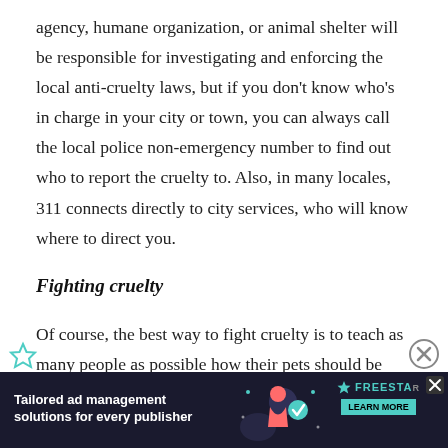agency, humane organization, or animal shelter will be responsible for investigating and enforcing the local anti-cruelty laws, but if you don't know who's in charge in your city or town, you can always call the local police non-emergency number to find out who to report the cruelty to. Also, in many locales, 311 connects directly to city services, who will know where to direct you.
Fighting cruelty
Of course, the best way to fight cruelty is to teach as many people as possible how their pets should be treated — and what they should never ever do. Parents and educators should teach children how to safely and humanely interact with animals at an early age...
[Figure (other): Advertisement banner: 'Tailored ad management solutions for every publisher' with Freestar branding, decorative graphic with person and icons, and a LEARN MORE button. Dark background with teal/green accents.]